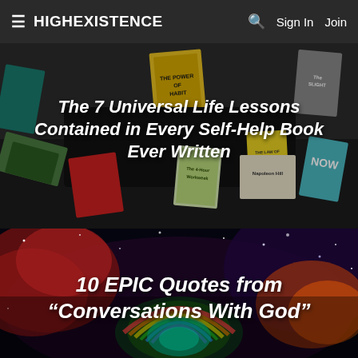≡ HIGHEXISTENCE  🔍  Sign In  Join
[Figure (photo): Person lying on floor surrounded by many self-help books including The Power of Habit, The Law of Success, The 4-Hour Workweek, Napoleon Hill books, NOW, and others]
The 7 Universal Life Lessons Contained in Every Self-Help Book Ever Written
[Figure (photo): Nebula/galaxy space image with colorful cosmic cloud, showing rainbow arc and red/blue nebula colors]
10 EPIC Quotes from "Conversations With God"